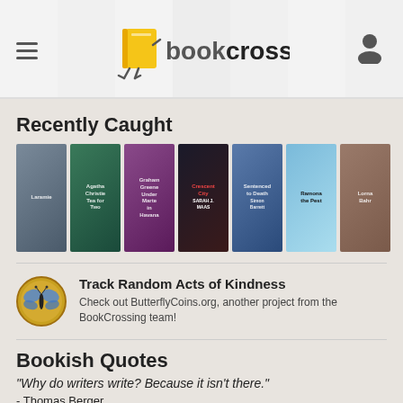[Figure (screenshot): BookCrossing website header with hamburger menu on left, BookCrossing logo in center, user icon on right, book covers in background]
Recently Caught
[Figure (illustration): Row of 7 book covers recently caught: Laramie, Tea for Two by Agatha Christie, Graham Greene Under Marte in Havana, Crescent City by Sarah J. Maas, Sentenced to Death by Simon Barrett, Ramona the Pest by Beverly Cleary, Lorna Bahr book]
[Figure (logo): ButterflyCoins gold medal butterfly icon with text: Track Random Acts of Kindness - Check out ButterflyCoins.org, another project from the BookCrossing team!]
Bookish Quotes
"Why do writers write? Because it isn't there."
- Thomas Berger
Latest News